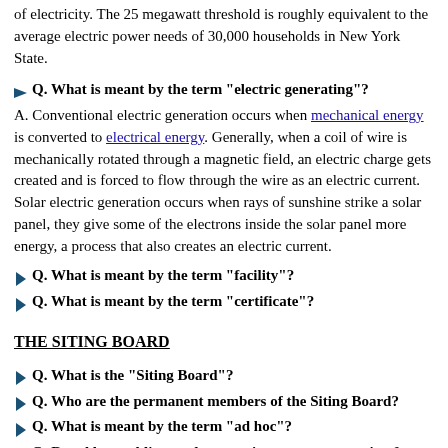of electricity. The 25 megawatt threshold is roughly equivalent to the average electric power needs of 30,000 households in New York State.
Q. What is meant by the term "electric generating"?
A. Conventional electric generation occurs when mechanical energy is converted to electrical energy. Generally, when a coil of wire is mechanically rotated through a magnetic field, an electric charge gets created and is forced to flow through the wire as an electric current. Solar electric generation occurs when rays of sunshine strike a solar panel, they give some of the electrons inside the solar panel more energy, a process that also creates an electric current.
Q. What is meant by the term "facility"?
Q. What is meant by the term "certificate"?
THE SITING BOARD
Q. What is the "Siting Board"?
Q. Who are the permanent members of the Siting Board?
Q. What is meant by the term "ad hoc"?
Q. Do ad hoc public members receive any compensation for their service on the Siting Board?
Q. What are the qualifications to be an ad hoc public